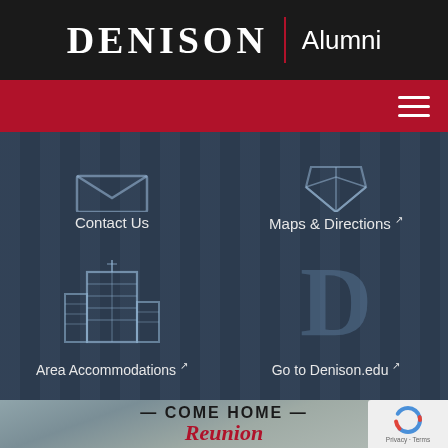DENISON Alumni
[Figure (screenshot): Denison University Alumni website navigation page showing a dark blue grid with icons: Contact Us, Maps & Directions, Area Accommodations, Go to Denison.edu, and a bottom section with 'COME HOME — Reunion' text over a campus photo]
Contact Us
Maps & Directions
Area Accommodations
Go to Denison.edu
— COME HOME —
Reunion